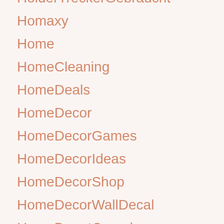HolderTreckerGebraucht
Homaxy
Home
HomeCleaning
HomeDeals
HomeDecor
HomeDecorGames
HomeDecorIdeas
HomeDecorShop
HomeDecorWallDecal
HomeDepotCanada
HomeDepotDividende
HomeDepotUsa
HomeDesign
HomeGunConcealmentShelf